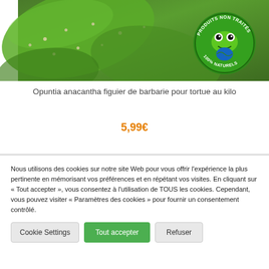[Figure (photo): Close-up photo of green cactus pads (Opuntia anacantha) with small spines, alongside a circular green badge/logo reading 'PRODUITS NON TRAITÉS 100% NATURELS' featuring a frog mascot holding a globe.]
Opuntia anacantha figuier de barbarie pour tortue au kilo
5,99€
Nous utilisons des cookies sur notre site Web pour vous offrir l'expérience la plus pertinente en mémorisant vos préférences et en répétant vos visites. En cliquant sur « Tout accepter », vous consentez à l'utilisation de TOUS les cookies. Cependant, vous pouvez visiter « Paramètres des cookies » pour fournir un consentement contrôlé.
Cookie Settings
Tout accepter
Refuser